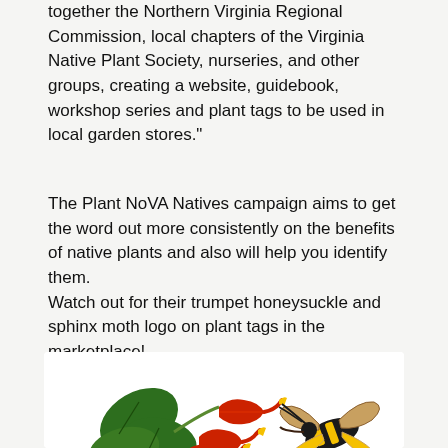together the Northern Virginia Regional Commission, local chapters of the Virginia Native Plant Society, nurseries, and other groups, creating a website, guidebook, workshop series and plant tags to be used in local garden stores."
The Plant NoVA Natives campaign aims to get the word out more consistently on the benefits of native plants and also will help you identify them. Watch out for their trumpet honeysuckle and sphinx moth logo on plant tags in the marketplace!
[Figure (logo): Plant NoVA Natives logo featuring trumpet honeysuckle flowers and a sphinx moth, with green bold text reading 'Plant NoVA Natives']